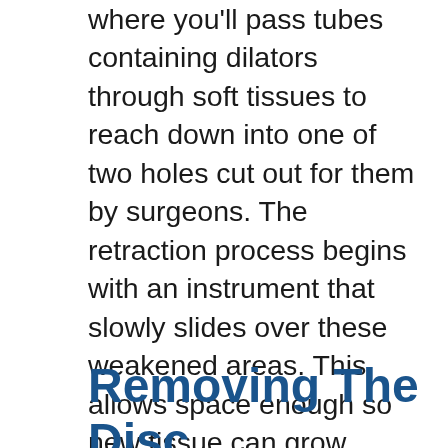where you'll pass tubes containing dilators through soft tissues to reach down into one of two holes cut out for them by surgeons. The retraction process begins with an instrument that slowly slides over these weakened areas. This allows space enough so new tissue can grow across both sides without obstruction or pressure buildup within any particular area.
Removing The Disc